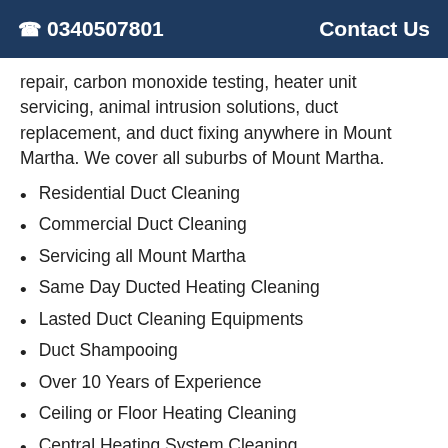☎ 0340507801   Contact Us
repair, carbon monoxide testing, heater unit servicing, animal intrusion solutions, duct replacement, and duct fixing anywhere in Mount Martha. We cover all suburbs of Mount Martha.
Residential Duct Cleaning
Commercial Duct Cleaning
Servicing all Mount Martha
Same Day Ducted Heating Cleaning
Lasted Duct Cleaning Equipments
Duct Shampooing
Over 10 Years of Experience
Ceiling or Floor Heating Cleaning
Central Heating System Cleaning
HVAC Duct Cleaning
Duct Repair Mount Martha